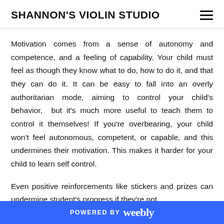SHANNON'S VIOLIN STUDIO
Motivation comes from a sense of autonomy and competence, and a feeling of capability. Your child must feel as though they know what to do, how to do it, and that they can do it. It can be easy to fall into an overly authoritarian mode, aiming to control your child's behavior,  but it's much more useful to teach them to control it themselves! If you're overbearing, your child won't feel autonomous, competent, or capable, and this undermines their motivation. This makes it harder for your child to learn self control.
Even positive reinforcements like stickers and prizes can undermine student's progress if they're not
POWERED BY weebly